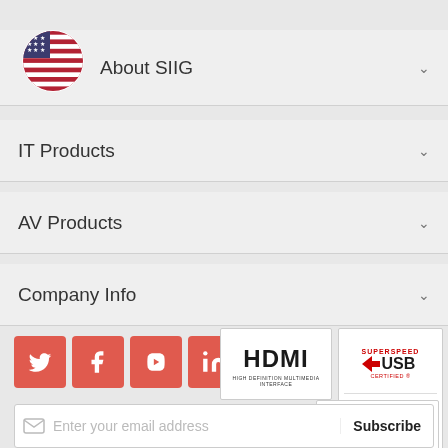[Figure (logo): US flag circle icon overlapping first nav item]
About SIIG
IT Products
AV Products
Company Info
[Figure (logo): Social media icons: Twitter, Facebook, YouTube, LinkedIn in red square buttons]
[Figure (logo): HDMI logo - HIGH DEFINITION MULTIMEDIA INTERFACE]
[Figure (logo): SuperSpeed USB and Hi-Speed USB certified logos]
[Figure (logo): AVIXA Member logo]
[Figure (logo): Digital Screenmedia Association member logo]
Enter your email address   Subscribe